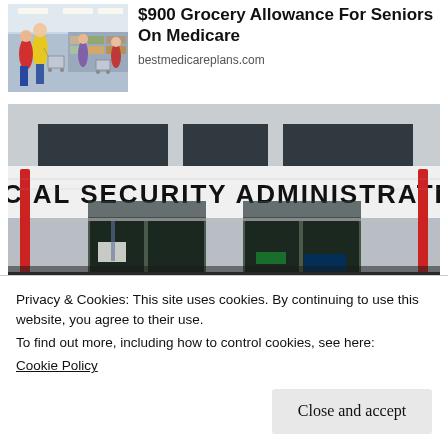[Figure (photo): Thumbnail photo of people shopping in a grocery store, with shopping carts and colorful clothing visible]
$900 Grocery Allowance For Seniors On Medicare
bestmedicareplans.com
[Figure (photo): Photo of the exterior of a Social Security Administration building entrance with large bold signage reading SOCIAL SECURITY ADMINISTRATION, glass doors, and red fire extinguisher posts]
Privacy & Cookies: This site uses cookies. By continuing to use this website, you agree to their use.
To find out more, including how to control cookies, see here:
Cookie Policy
Close and accept